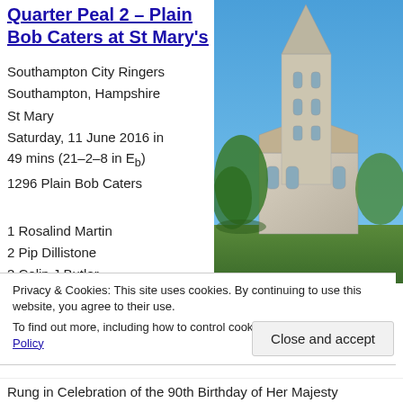Quarter Peal 2 – Plain Bob Caters at St Mary's
Southampton City Ringers
Southampton, Hampshire
St Mary
Saturday, 11 June 2016 in 49 mins (21–2–8 in Eb)
1296 Plain Bob Caters
1 Rosalind Martin
2 Pip Dillistone
3 Colin J Butler
4 Ali Hunt
5 Ian Hunt
[Figure (photo): Photograph of St Mary's church, Southampton, showing a tall stone Gothic spire tower with trees in foreground against a blue sky]
Privacy & Cookies: This site uses cookies. By continuing to use this website, you agree to their use.
To find out more, including how to control cookies, see here: Cookie Policy
Close and accept
Rung in Celebration of the 90th Birthday of Her Majesty